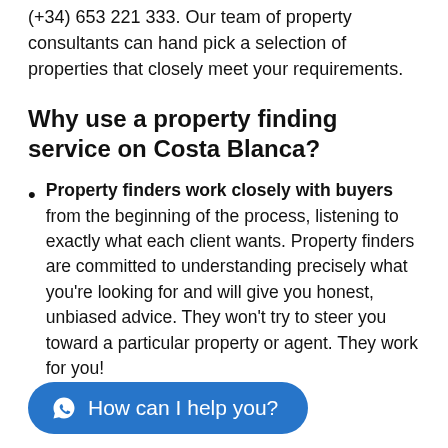(+34) 653 221 333. Our team of property consultants can hand pick a selection of properties that closely meet your requirements.
Why use a property finding service on Costa Blanca?
Property finders work closely with buyers from the beginning of the process, listening to exactly what each client wants. Property finders are committed to understanding precisely what you're looking for and will give you honest, unbiased advice. They won't try to steer you toward a particular property or agent. They work for you!